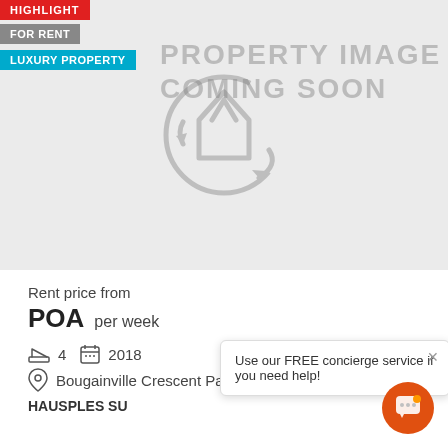[Figure (illustration): Property placeholder image with 'PROPERTY IMAGE COMING SOON' text and a circular house/refresh icon. Badges: HIGHLIGHT (red), FOR RENT (grey), LUXURY PROPERTY (blue).]
Rent price from
POA  per week
4  2018
Bougainville Crescent Paga, Paga ...
HAUSPLES SU
Use our FREE concierge service if you need help!